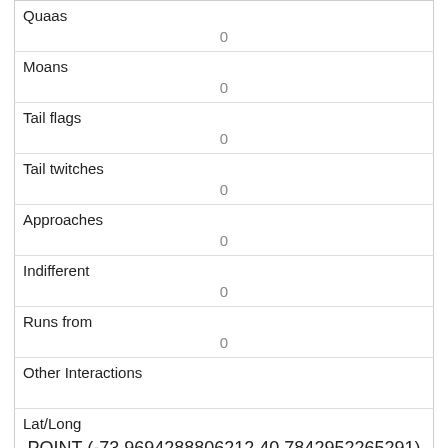| Field | Value |
| --- | --- |
| Quaas | 0 |
| Moans | 0 |
| Tail flags | 0 |
| Tail twitches | 0 |
| Approaches | 0 |
| Indifferent | 0 |
| Runs from | 0 |
| Other Interactions |  |
| Lat/Long | POINT (-73.9694288806212 40.7842952265291) |
| Field | Value |
| --- | --- |
| Link | 324 |